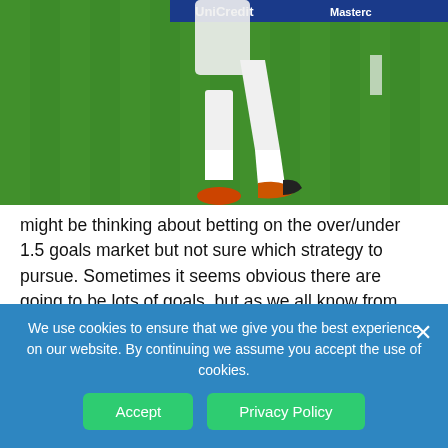[Figure (photo): A soccer player in white uniform kicking a ball on a green field. Advertisement hoardings in background show 'UniCredit' and 'MasterCard' branding. Player wearing orange and black cleats.]
might be thinking about betting on the over/under 1.5 goals market but not sure which strategy to pursue. Sometimes it seems obvious there are going to be lots of goals, but as we all know from betting, it is never as easy as it seems.

The most important thing is to always look for
We use cookies to ensure that we give you the best experience on our website. By continuing we assume you accept the use of cookies.